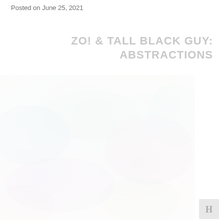Posted on June 25, 2021
ZO! & TALL BLACK GUY:
ABSTRACTIONS
[Figure (photo): Faded, washed-out abstract album cover art with muted pastel tones — light blues, pinks, and greens. The image shows indistinct abstract or nature-like forms, very low contrast and nearly white.]
[Figure (logo): Small publisher or site logo in the bottom right corner, appearing as a stylized letter or icon in a light gray box.]